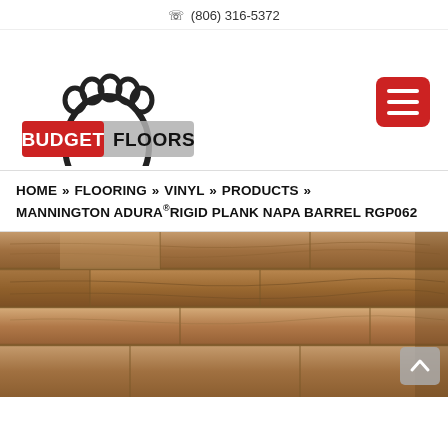☎ (806) 316-5372
[Figure (logo): Budget Floors logo: black outline of a bear paw/footprint with text 'BUDGET FLOORS' — BUDGET in red bold on gray background, FLOORS in black bold on gray background]
HOME » FLOORING » VINYL » PRODUCTS » MANNINGTON ADURA®RIGID PLANK NAPA BARREL RGP062
[Figure (photo): Close-up photograph of wood-look vinyl plank flooring in a warm brown/tan color with wood grain texture — Mannington Adura Rigid Plank Napa Barrel RGP062]